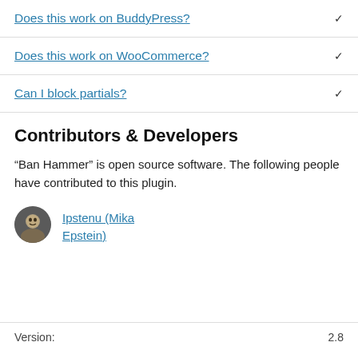Does this work on BuddyPress?
Does this work on WooCommerce?
Can I block partials?
Contributors & Developers
“Ban Hammer” is open source software. The following people have contributed to this plugin.
Ipstenu (Mika Epstein)
Version: 2.8